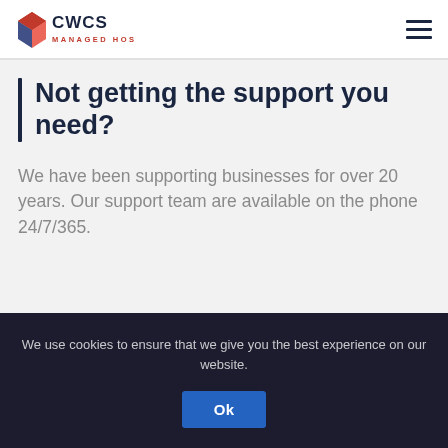[Figure (logo): CWCS Managed Hosting logo with diamond icon in red and blue]
Not getting the support you need?
We have been supporting businesses for over 20 years. Our support team are available on the phone 24/7/365.
We use cookies to ensure that we give you the best experience on our website.